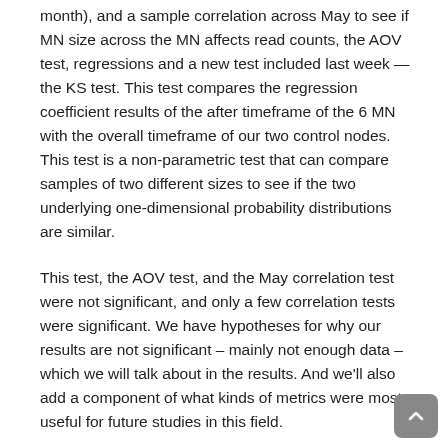month), and a sample correlation across May to see if MN size across the MN affects read counts, the AOV test, regressions and a new test included last week — the KS test. This test compares the regression coefficient results of the after timeframe of the 6 MN with the overall timeframe of our two control nodes. This test is a non-parametric test that can compare samples of two different sizes to see if the two underlying one-dimensional probability distributions are similar.
This test, the AOV test, and the May correlation test were not significant, and only a few correlation tests were significant. We have hypotheses for why our results are not significant – mainly not enough data – which we will talk about in the results. And we'll also add a component of what kinds of metrics were most useful for future studies in this field.